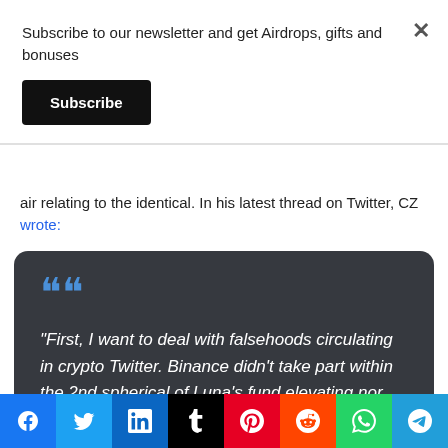Subscribe to our newsletter and get Airdrops, gifts and bonuses
Subscribe
air relating to the identical. In his latest thread on Twitter, CZ wrote:
“First, I want to deal with falsehoods circulating in crypto Twitter. Binance didn’t take part within the 2nd spherical of Luna’s fund elevating nor did…
Facebook | Twitter | LinkedIn | Tumblr | Pinterest | Reddit | WhatsApp | Telegram